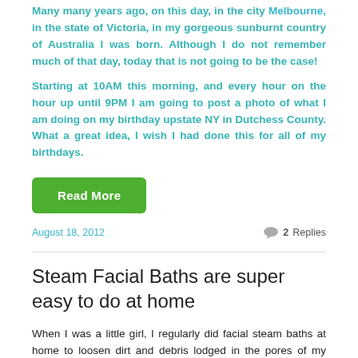Many many years ago, on this day, in the city Melbourne, in the state of Victoria, in my gorgeous sunburnt country of Australia I was born. Although I do not remember much of that day, today that is not going to be the case!
Starting at 10AM this morning, and every hour on the hour up until 9PM I am going to post a photo of what I am doing on my birthday upstate NY in Dutchess County. What a great idea, I wish I had done this for all of my birthdays.
Read More
August 18, 2012
2 Replies
Steam Facial Baths are super easy to do at home
When I was a little girl, I regularly did facial steam baths at home to loosen dirt and debris lodged in the pores of my skin. Maybe this has contributed to why I have such lovely skin at my age, I am sure it